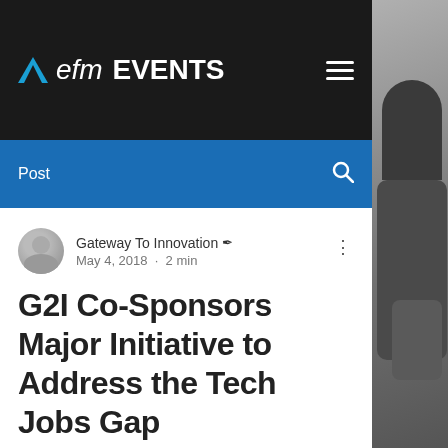efm EVENTS
Post
Gateway To Innovation · May 4, 2018 · 2 min
G2I Co-Sponsors Major Initiative to Address the Tech Jobs Gap
ST. LOUIS (PRWEB) MAY 04, 2018